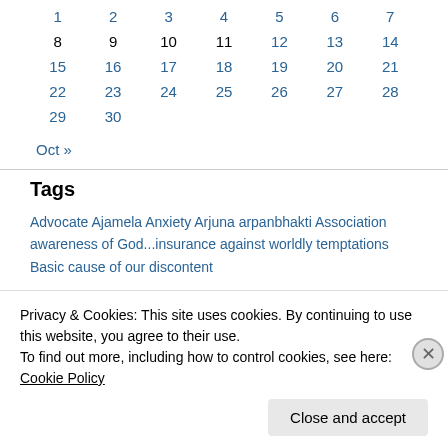| 1 | 2 | 3 | 4 | 5 | 6 | 7 |
| 8 | 9 | 10 | 11 | 12 | 13 | 14 |
| 15 | 16 | 17 | 18 | 19 | 20 | 21 |
| 22 | 23 | 24 | 25 | 26 | 27 | 28 |
| 29 | 30 |  |  |  |  |  |
Oct »
Tags
Advocate Ajamela Anxiety Arjuna arpanbhakti Association awareness of God...insurance against worldly temptations Basic cause of our discontent
Contentment
Privacy & Cookies: This site uses cookies. By continuing to use this website, you agree to their use.
To find out more, including how to control cookies, see here: Cookie Policy
Close and accept